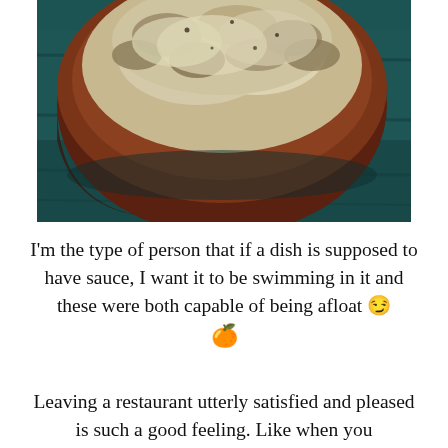[Figure (photo): A wooden bowl filled with a creamy mushroom dish, placed on a dark teal painted wooden surface. The bowl is dark reddish-brown wood and the food appears to be smothered in a pale cream sauce with mushrooms visible.]
I'm the type of person that if a dish is supposed to have sauce, I want it to be swimming in it and these were both capable of being afloat 😉 🍊
Leaving a restaurant utterly satisfied and pleased is such a good feeling. Like when you